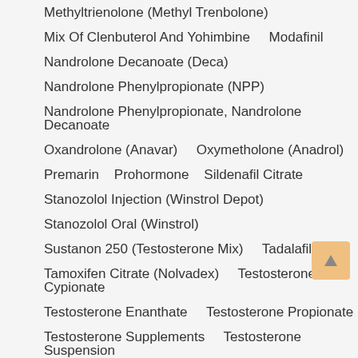Methyltrienolone (Methyl Trenbolone)
Mix Of Clenbuterol And Yohimbine    Modafinil
Nandrolone Decanoate (Deca)
Nandrolone Phenylpropionate (NPP)
Nandrolone Phenylpropionate, Nandrolone Decanoate
Oxandrolone (Anavar)    Oxymetholone (Anadrol)
Premarin    Prohormone    Sildenafil Citrate
Stanozolol Injection (Winstrol Depot)
Stanozolol Oral (Winstrol)
Sustanon 250 (Testosterone Mix)    Tadalafil
Tamoxifen Citrate (Nolvadex)    Testosterone Cypionate
Testosterone Enanthate    Testosterone Propionate
Testosterone Supplements    Testosterone Suspension
Testosterone Undecanoate    Trenbolone
Trenbolone Acetate
Trenbolone Acetate, Drostanolone Propionate,